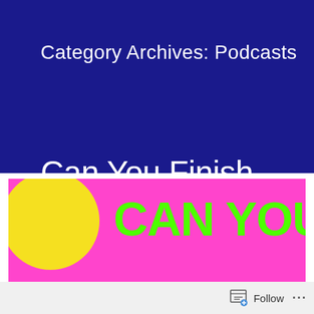Category Archives: Podcasts
Can You Finish The Lyrics? (w/ Danny Seoane)
[Figure (illustration): Colorful podcast thumbnail image with pink border, yellow circle graphic on left side and bright green text reading 'CAN YOU' on blue/purple background]
Follow ···